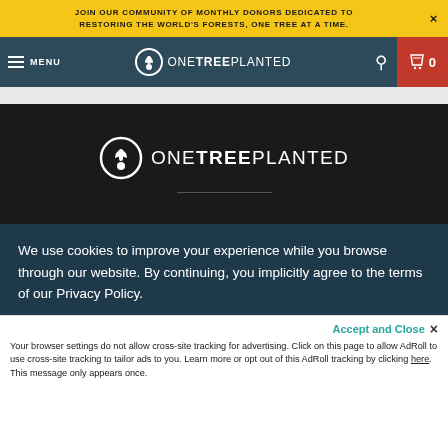JOIN OUR COMMUNITY OF MONTHLY DONORS DEDICATED TO RESTORING THE WORLD'S FORESTS, ONE TREE AT A TIME.
[Figure (screenshot): OneTreePlanted navigation bar with hamburger menu, logo, search icon and cart]
[Figure (logo): OneTreePlanted logo on dark background with horizontal divider]
We use cookies to improve your experience while you browse through our website. By continuing, you implicitly agree to the terms of our Privacy Policy.
Accept and Close
Your browser settings do not allow cross-site tracking for advertising. Click on this page to allow AdRoll to use cross-site tracking to tailor ads to you. Learn more or opt out of this AdRoll tracking by clicking here. This message only appears once.